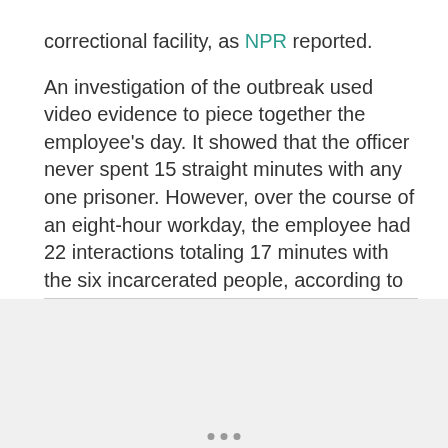correctional facility, as NPR reported. An investigation of the outbreak used video evidence to piece together the employee's day. It showed that the officer never spent 15 straight minutes with any one prisoner. However, over the course of an eight-hour workday, the employee had 22 interactions totaling 17 minutes with the six incarcerated people, according to STAT News.